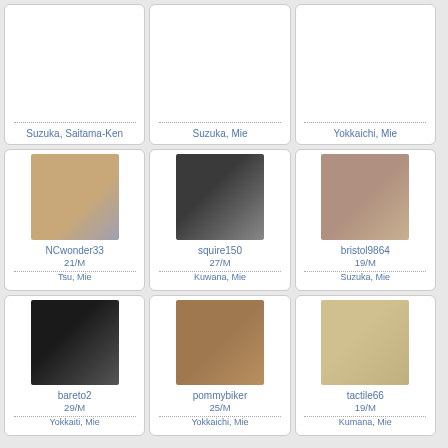Suzuka, Saitama-Ken
Suzuka, Mie
Yokkaichi, Mie
[Figure (photo): Profile photo of NCwonder33, muscular male]
NCwonder33
21/M
Tsu, Mie
[Figure (photo): Profile photo of squire150, young male with earring]
squire150
27/M
Kuwana, Mie
[Figure (photo): Profile photo of bristol9864, male portrait]
bristol9864
19/M
Suzuka, Mie
[Figure (photo): Profile photo of bareto2, black male]
bareto2
29/M
Yokkaiti, Mie
[Figure (photo): Profile photo of pommybiker, latin-looking male]
pommybiker
25/M
Yokkaichi, Mie
[Figure (photo): Profile photo of tactile66, blond male in white shirt]
tactile66
19/M
Kumana, Mie